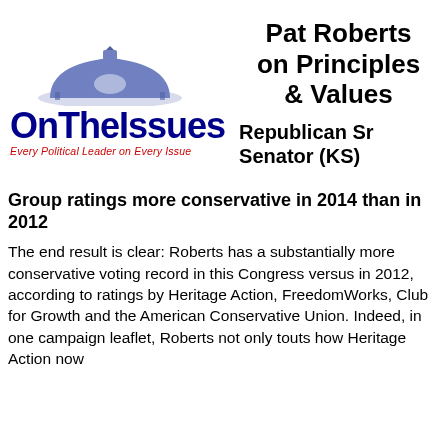[Figure (logo): OnTheIssues logo with dome icon, blue bold text 'OnTheIssues' and red italic tagline 'Every Political Leader on Every Issue']
Pat Roberts on Principles & Values
Republican Sr Senator (KS)
Group ratings more conservative in 2014 than in 2012
The end result is clear: Roberts has a substantially more conservative voting record in this Congress versus in 2012, according to ratings by Heritage Action, FreedomWorks, Club for Growth and the American Conservative Union. Indeed, in one campaign leaflet, Roberts not only touts how Heritage Action now